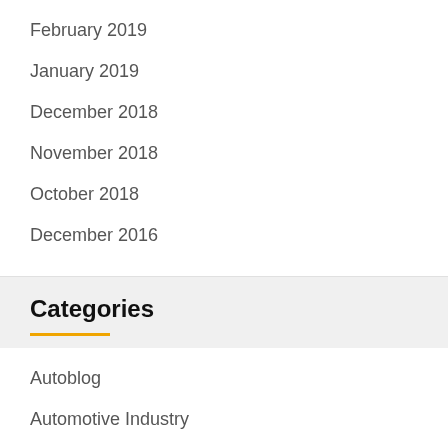February 2019
January 2019
December 2018
November 2018
October 2018
December 2016
Categories
Autoblog
Automotive Industry
Car Prices
Info Auto